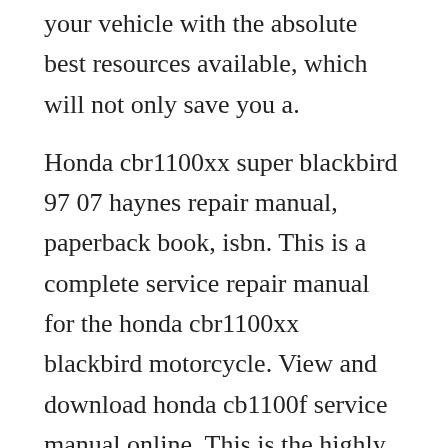your vehicle with the absolute best resources available, which will not only save you a.
Honda cbr1100xx super blackbird 97 07 haynes repair manual, paperback book, isbn. This is a complete service repair manual for the honda cbr1100xx blackbird motorcycle. View and download honda cb1100f service manual online. This is the highly detailed factory service repair manual for the 1999 honda cbr1100xx, this service manual has detailed illustrations as well as step by step. Honda cbr1100xx digital workshop repair manual10002003 Jul 04 2018 this is the